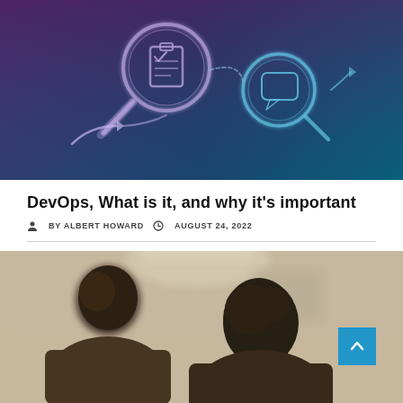[Figure (illustration): Dark blue/purple gradient background with glowing neon-style icons: a magnifying glass over a clipboard/checklist icon, a speech bubble, and arrows connecting them — representing DevOps/technology concept art.]
DevOps, What is it, and why it's important
BY ALBERT HOWARD   AUGUST 24, 2022
[Figure (photo): Two people viewed from behind looking at something, in a blurred office/indoor environment with warm lighting.]